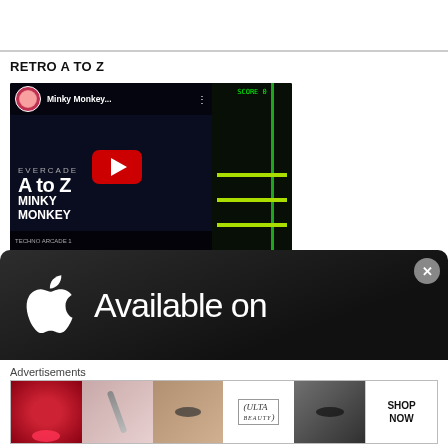RETRO A TO Z
[Figure (screenshot): YouTube video thumbnail for 'Minky Monkey...' showing Evercade A to Z Minky Monkey retro game with red play button overlay]
[Figure (other): App Store banner showing Apple logo and 'Available on' text on dark background with rounded top corners, with close (X) button]
Advertisements
[Figure (other): ULTA beauty advertisement banner with makeup imagery including lips, brush, eye, ULTA logo, eye close-up, and SHOP NOW text]